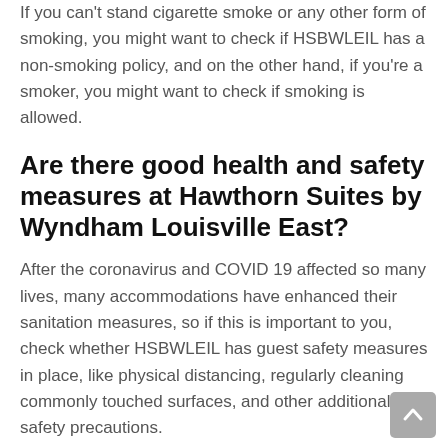If you can't stand cigarette smoke or any other form of smoking, you might want to check if HSBWLEIL has a non-smoking policy, and on the other hand, if you're a smoker, you might want to check if smoking is allowed.
Are there good health and safety measures at Hawthorn Suites by Wyndham Louisville East?
After the coronavirus and COVID 19 affected so many lives, many accommodations have enhanced their sanitation measures, so if this is important to you, check whether HSBWLEIL has guest safety measures in place, like physical distancing, regularly cleaning commonly touched surfaces, and other additional safety precautions.
Will your luggage be safe at Hawthorn Suites by